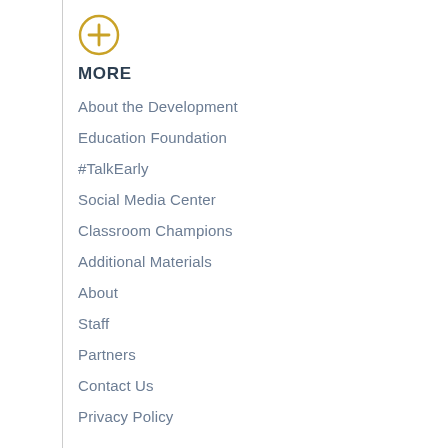[Figure (illustration): Gold/yellow circle with a plus sign icon]
MORE
About the Development
Education Foundation
#TalkEarly
Social Media Center
Classroom Champions
Additional Materials
About
Staff
Partners
Contact Us
Privacy Policy